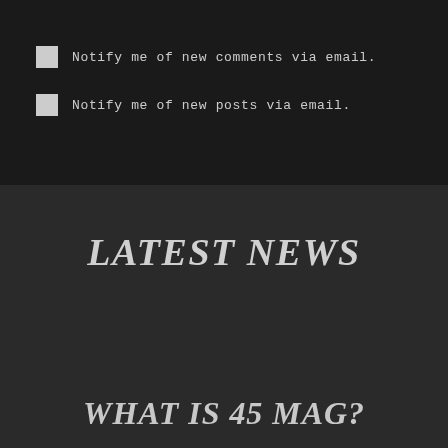Notify me of new comments via email.
Notify me of new posts via email.
LATEST NEWS
WHAT IS 45 MAG?